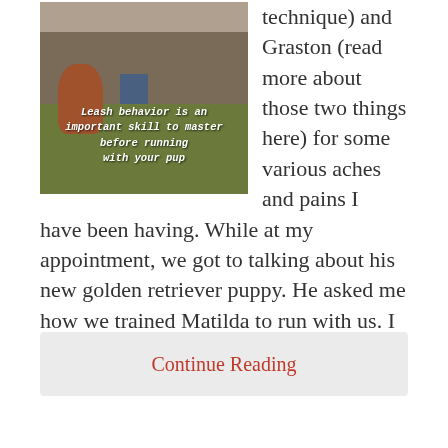[Figure (photo): Photo of a person walking with a dog on a path, with text overlay reading 'Leash behavior is an important skill to master before running with your pup']
technique) and Graston (read more about those two things here) for some various aches and pains I have been having. While at my appointment, we got to talking about his new golden retriever puppy. He asked me how we trained Matilda to run with us. I couldn't remember much advice to share with him
Continue Reading